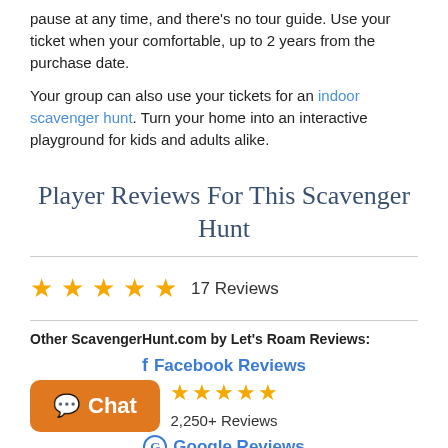pause at any time, and there's no tour guide. Use your ticket when your comfortable, up to 2 years from the purchase date.
Your group can also use your tickets for an indoor scavenger hunt. Turn your home into an interactive playground for kids and adults alike.
Player Reviews For This Scavenger Hunt
★★★★★ 17 Reviews
Other ScavengerHunt.com by Let's Roam Reviews:
f Facebook Reviews ★★★★★ 2,250+ Reviews
G Google Reviews ★★★★★